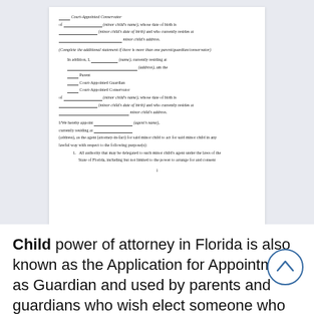[Figure (other): Scanned legal document page showing a Florida minor child power of attorney form with fillable blank lines for Court-Appointed Conservator, minor child name, date of birth, address, parent/guardian details, and agent appointment section with numbered list beginning 'All authority that may be delegated to such minor child's agent under the laws of the State of Florida, including but not limited to the power to arrange for and consent']
Child power of attorney in Florida is also known as the Application for Appointment as Guardian and used by parents and guardians who wish elect someone who will take care of the kid(s) when they are away.